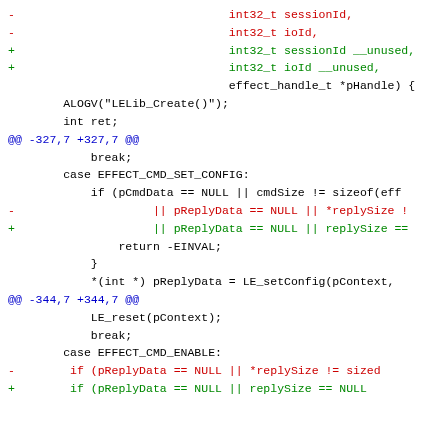Diff code block showing changes to function parameters and case statements in C/C++ source code